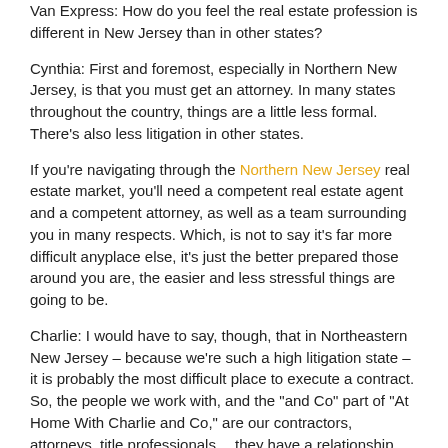Van Express: How do you feel the real estate profession is different in New Jersey than in other states?
Cynthia: First and foremost, especially in Northern New Jersey, is that you must get an attorney. In many states throughout the country, things are a little less formal. There’s also less litigation in other states.
If you’re navigating through the Northern New Jersey real estate market, you’ll need a competent real estate agent and a competent attorney, as well as a team surrounding you in many respects. Which, is not to say it’s far more difficult anyplace else, it’s just the better prepared those around you are, the easier and less stressful things are going to be.
Charlie: I would have to say, though, that in Northeastern New Jersey – because we’re such a high litigation state – it is probably the most difficult place to execute a contract. So, the people we work with, and the “and Co” part of “At Home With Charlie and Co,” are our contractors, attorneys, title professionals… they have a relationship with us. We can help a seller or